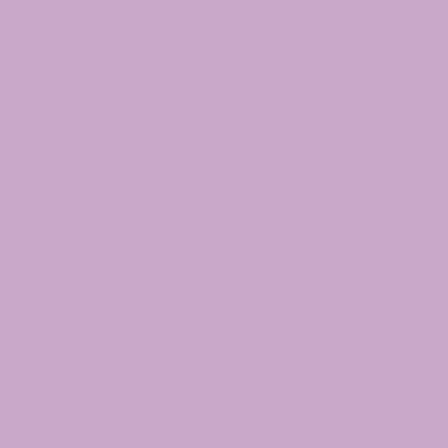| # |  | Title |
| --- | --- | --- |
| 128 |  | Messe de Minuit - Sanctus... |
| 129 |  | Messe du Couronnement - Agnus |
| 130 |  | Messe du Couronnement - Benedictus |
| 131 |  | Messe du Couronnement - complet |
| 132 |  | Messe du Couronnement - Credo |
| 133 |  | Messe du Couronnement - Gloria |
| 134 |  | Messe du Couronnement - Kyrie |
| 135 |  | Messe du Couronnement - Sanctus |
| 136 |  | Messe en Sol - Agnus |
| 137 |  | Messe en Sol - Agnus (Sol...) |
| 138 |  | Messe en Sol - Benedictus (Soli) |